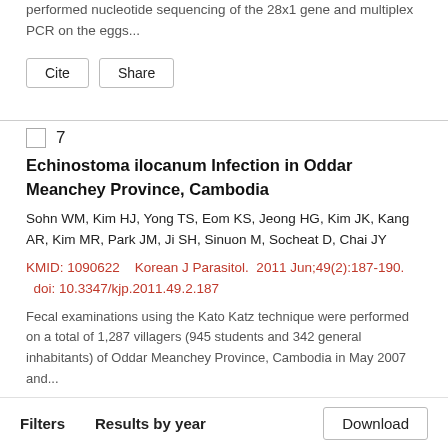performed nucleotide sequencing of the 28x1 gene and multiplex PCR on the eggs...
Cite | Share
7
Echinostoma ilocanum Infection in Oddar Meanchey Province, Cambodia
Sohn WM, Kim HJ, Yong TS, Eom KS, Jeong HG, Kim JK, Kang AR, Kim MR, Park JM, Ji SH, Sinuon M, Socheat D, Chai JY
KMID: 1090622    Korean J Parasitol.  2011 Jun;49(2):187-190.  doi: 10.3347/kjp.2011.49.2.187
Fecal examinations using the Kato Katz technique were performed on a total of 1,287 villagers (945 students and 342 general inhabitants) of Oddar Meanchey Province, Cambodia in May 2007 and...
Cite | Share
Filters    Results by year    Download